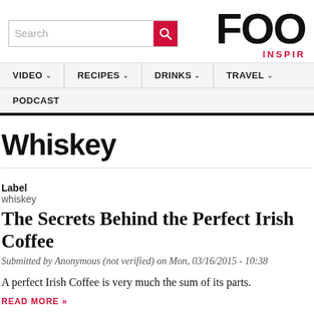[Figure (screenshot): Website header with search box and logo reading FOO with tagline INSPIR]
VIDEO  RECIPES  DRINKS  TRAVEL  PODCAST
Whiskey
Label
whiskey
The Secrets Behind the Perfect Irish Coffee
Submitted by Anonymous (not verified) on Mon, 03/16/2015 - 10:38
A perfect Irish Coffee is very much the sum of its parts.
READ MORE »